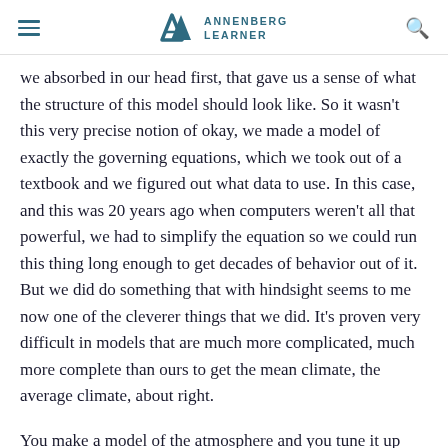ANNENBERG LEARNER
we absorbed in our head first, that gave us a sense of what the structure of this model should look like. So it wasn't this very precise notion of okay, we made a model of exactly the governing equations, which we took out of a textbook and we figured out what data to use. In this case, and this was 20 years ago when computers weren't all that powerful, we had to simplify the equation so we could run this thing long enough to get decades of behavior out of it. But we did do something that with hindsight seems to me now one of the cleverer things that we did. It's proven very difficult in models that are much more complicated, much more complete than ours to get the mean climate, the average climate, about right.
You make a model of the atmosphere and you tune it up putting in observed sea surface temperatures. And you